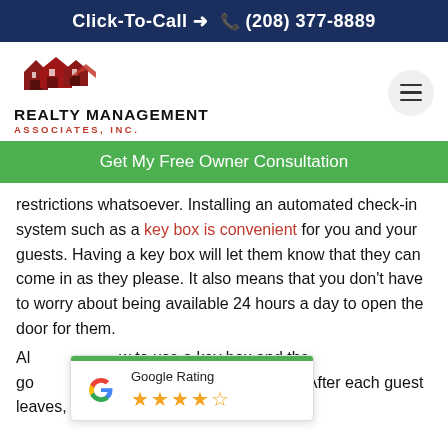Click-To-Call → (208) 377-8889
[Figure (logo): Realty Management Associates, Inc. logo with house illustration and hamburger menu icon]
Get My Free Owner Consultation
restrictions whatsoever. Installing an automated check-in system such as a key box is convenient for you and your guests. Having a key box will let them know that they can come in as they please. It also means that you don't have to worry about being available 24 hours a day to open the door for them.
[Figure (other): Google Rating widget showing 4.5 stars]
Al... w to use a key box and the go... kes a few seconds to reset. After each guest leaves, always remember to re-code your